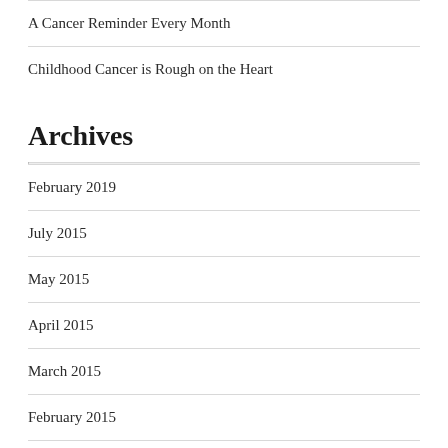A Cancer Reminder Every Month
Childhood Cancer is Rough on the Heart
Archives
February 2019
July 2015
May 2015
April 2015
March 2015
February 2015
December 2014